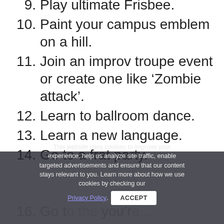9. Play ultimate Frisbee.
10. Paint your campus emblem on a hill.
11. Join an improv troupe event or create one like ‘Zombie attack’.
12. Learn to ballroom dance.
13. Learn a new language.
14. Go to a frat party.
15. Dress up in something fancy and go dancing with friends.
16. Go to... you’re...
17. Hear an... from your universit...
This website uses cookies to improve your experience, help us analyze site traffic, enable targeted advertisements and ensure that our content stays relevant to you. Learn more about how we use cookies by checking our Privacy Policy. ACCEPT